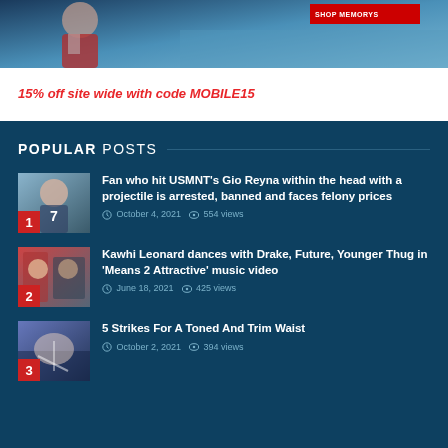[Figure (photo): Hero image of a soccer player, partially cropped, with a red promotional banner overlay]
15% off site wide with code MOBILE15
POPULAR POSTS
Fan who hit USMNT's Gio Reyna within the head with a projectile is arrested, banned and faces felony prices — October 4, 2021 • 554 views
Kawhi Leonard dances with Drake, Future, Younger Thug in 'Means 2 Attractive' music video — June 18, 2021 • 425 views
5 Strikes For A Toned And Trim Waist — October 2, 2021 • 394 views